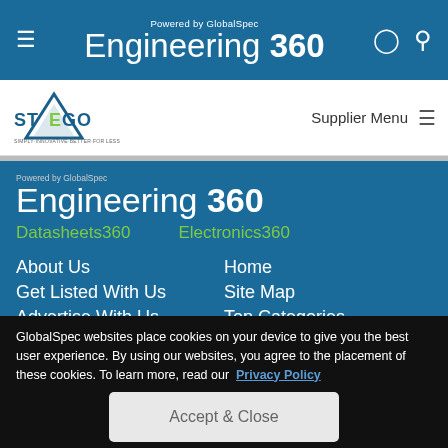Engineering 360 - Powered by GlobalSpec
[Figure (logo): STEGO company logo with triangle graphic and tagline]
Supplier Menu
[Figure (logo): Engineering 360 footer logo - Powered by GlobalSpec]
Datasheets360
Electronics360
About Us
Home
Get Listed With Us
Site Map
Advertise With Us
Top Categories
GlobalSpec websites place cookies on your device to give you the best user experience. By using our websites, you agree to the placement of these cookies. To learn more, read our Privacy Policy
Accept & Close